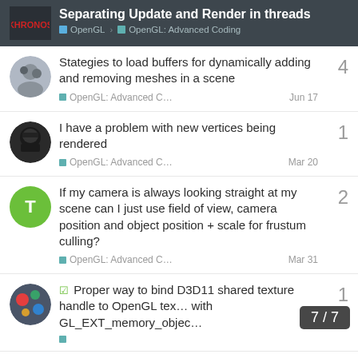Separating Update and Render in threads | OpenGL | OpenGL: Advanced Coding
Stategies to load buffers for dynamically adding and removing meshes in a scene | OpenGL: Advanced C… | Jun 17 | 4 replies
I have a problem with new vertices being rendered | OpenGL: Advanced C… | Mar 20 | 1 reply
If my camera is always looking straight at my scene can I just use field of view, camera position and object position + scale for frustum culling? | OpenGL: Advanced C… | Mar 31 | 2 replies
✓ Proper way to bind D3D11 shared texture handle to OpenGL tex… with GL_EXT_memory_objec… | 1 reply
7 / 7